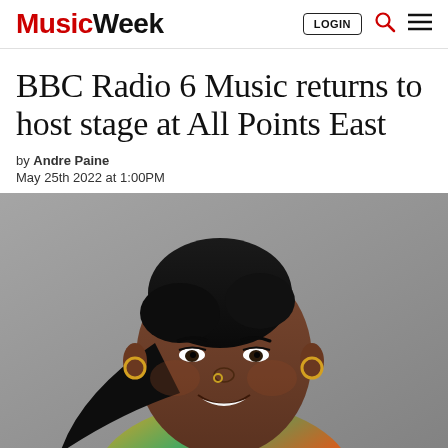Music Week — LOGIN
BBC Radio 6 Music returns to host stage at All Points East
by Andre Paine
May 25th 2022 at 1:00PM
[Figure (photo): Smiling Black woman with earrings, nose ring, and gold chain necklace, wearing colorful top, photographed outdoors against grey background]